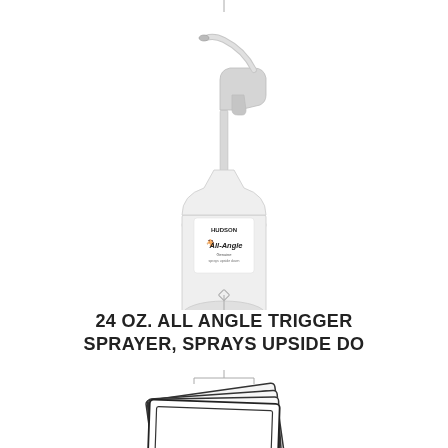[Figure (photo): A white Hudson All-Angle trigger spray bottle with pump sprayer head, photographed on white background. The bottle label reads 'HUDSON All-Angle Sprayer'. A thin vertical line connects the bottle to the text below.]
24 OZ. ALL ANGLE TRIGGER SPRAYER, SPRAYS UPSIDE DO
[Figure (photo): A stack of white microfiber cloths/towels with dark borders, fanned out, photographed on white background. A thin bracket line connects from above.]